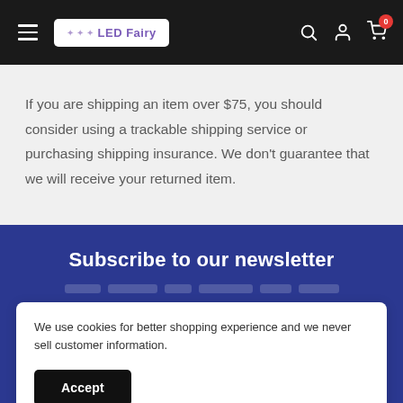LED Fairy — navigation bar with hamburger menu, logo, search, account, and cart icons
If you are shipping an item over $75, you should consider using a trackable shipping service or purchasing shipping insurance. We don't guarantee that we will receive your returned item.
Subscribe to our newsletter
We use cookies for better shopping experience and we never sell customer information.
Accept